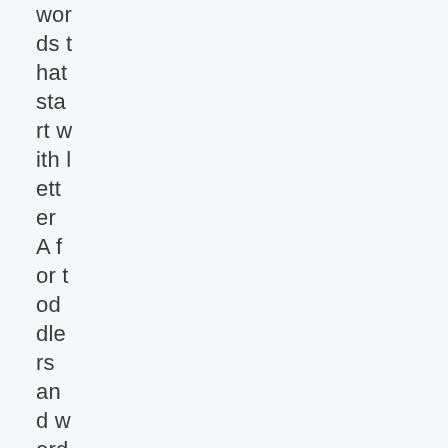words that start with letter A for toddlers and words that start